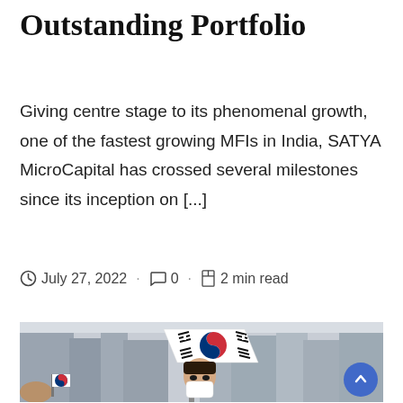Outstanding Portfolio
Giving centre stage to its phenomenal growth, one of the fastest growing MFIs in India, SATYA MicroCapital has crossed several milestones since its inception on [...]
🕐 July 27, 2022  · 💬 0  · ⧖ 2 min read
[Figure (photo): Person waving a South Korean (Taegukgi) flag outdoors in front of modern buildings, wearing a white mask; another person with a Korean flag visible at lower left.]